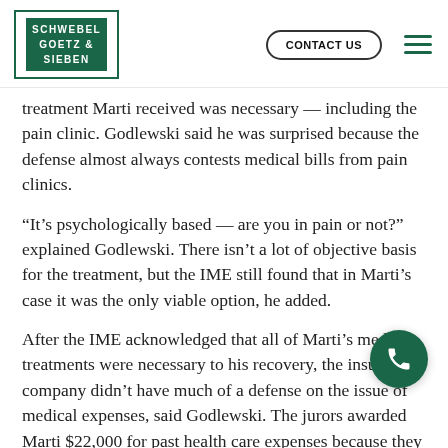SCHWEBEL GOETZ & SIEBEN | CONTACT US
treatment Marti received was necessary — including the pain clinic. Godlewski said he was surprised because the defense almost always contests medical bills from pain clinics.
“It’s psychologically based — are you in pain or not?” explained Godlewski. There isn’t a lot of objective basis for the treatment, but the IME still found that in Marti’s case it was the only viable option, he added.
After the IME acknowledged that all of Marti’s medical treatments were necessary to his recovery, the insurance company didn’t have much of a defense on the issue of medical expenses, said Godlewski. The jurors awarded Marti $22,000 for past health care expenses because they were convinced that Marti was in pain, and believed that any attempt to ease the pain was necessary, Godlewski stated.